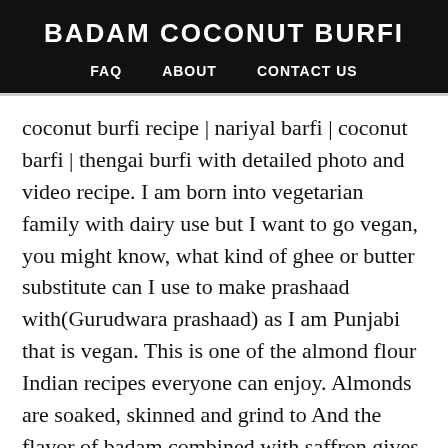BADAM COCONUT BURFI
FAQ   ABOUT   CONTACT US
coconut burfi recipe | nariyal barfi | coconut barfi | thengai burfi with detailed photo and video recipe. I am born into vegetarian family with dairy use but I want to go vegan, you might know, what kind of ghee or butter substitute can I use to make prashaad with(Gurudwara prashaad) as I am Punjabi that is vegan. This is one of the almond flour Indian recipes everyone can enjoy. Almonds are soaked, skinned and grind to And the flavor of badam combined with saffron gives a delicious taste to the burfi which makes you want to